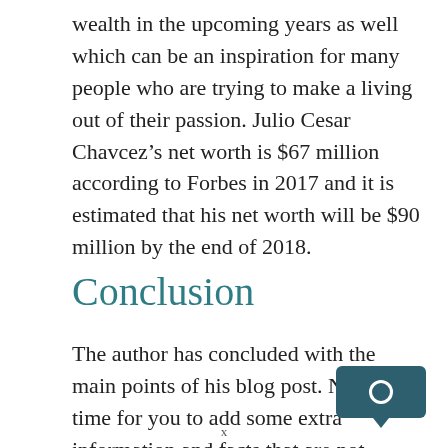wealth in the upcoming years as well which can be an inspiration for many people who are trying to make a living out of their passion. Julio Cesar Chavcez’s net worth is $67 million according to Forbes in 2017 and it is estimated that his net worth will be $90 million by the end of 2018.
Conclusion
The author has concluded with the main points of his blog post. Now it’s time for you to add some extra information and facts that are not
x